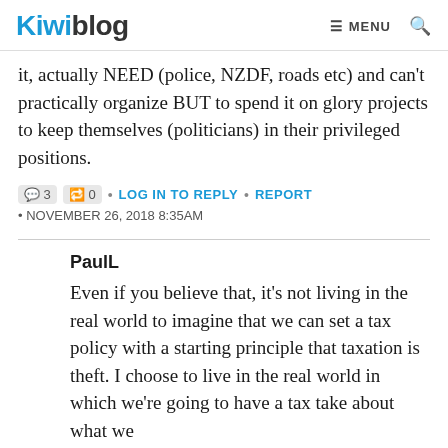Kiwiblog | MENU
it, actually NEED (police, NZDF, roads etc) and can't practically organize BUT to spend it on glory projects to keep themselves (politicians) in their privileged positions.
🗨 3 🔁 0 • LOG IN TO REPLY • REPORT • NOVEMBER 26, 2018 8:35AM
PaulL
Even if you believe that, it's not living in the real world to imagine that we can set a tax policy with a starting principle that taxation is theft. I choose to live in the real world in which we're going to have a tax take about what we